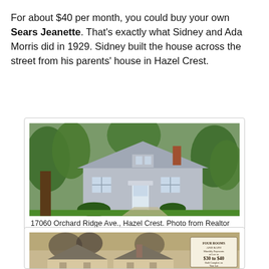For about $40 per month, you could buy your own Sears Jeanette. That's exactly what Sidney and Ada Morris did in 1929. Sidney built the house across the street from his parents' house in Hazel Crest.
[Figure (photo): Exterior photo of a small white/grey house at 17060 Orchard Ridge Ave., Hazel Crest, surrounded by large green trees and a well-kept lawn. Photo from Realtor site.]
17060 Orchard Ridge Ave., Hazel Crest. Photo from Realtor site.
[Figure (photo): Vintage black-and-white illustration/photo of a Sears Jeanette house with a price tag overlay reading 'FOUR ROOMS AND BATH, Monthly Payments as Low as $30 to $40, Built Complete on Your Lot.']